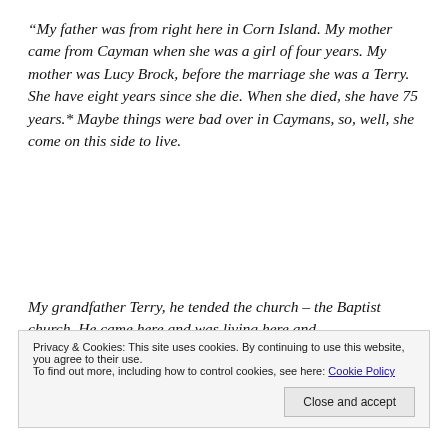“My father was from right here in Corn Island. My mother came from Cayman when she was a girl of four years. My mother was Lucy Brock, before the marriage she was a Terry. She have eight years since she die. When she died, she have 75 years.* Maybe things were bad over in Caymans, so, well, she come on this side to live.
My grandfather Terry, he tended the church – the Baptist church. He came here and was living here and
Privacy & Cookies: This site uses cookies. By continuing to use this website, you agree to their use. To find out more, including how to control cookies, see here: Cookie Policy
he joined the church, up North End – he used to live